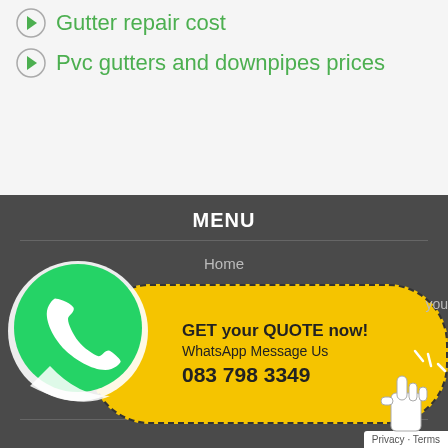Gutter repair cost
Pvc gutters and downpipes prices
MENU
Home
About
Services
Areas
Contact
CONTACT US
[Figure (logo): WhatsApp green circle logo with phone handset icon in white]
GET your QUOTE now! WhatsApp Message Us 083 798 3349
Privacy · Terms